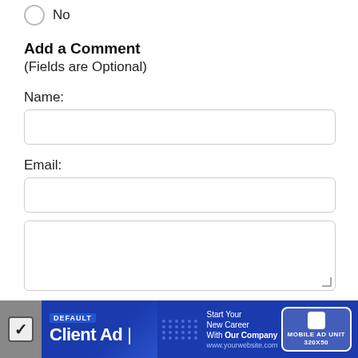No
Add a Comment
(Fields are Optional)
Name:
Email:
[Figure (screenshot): Advertisement banner at the bottom with checkbox, DEFAULT label, Client Ad text, Start Your New Career With Our Company tagline, and MOBILE AD UNIT 320X50 label]